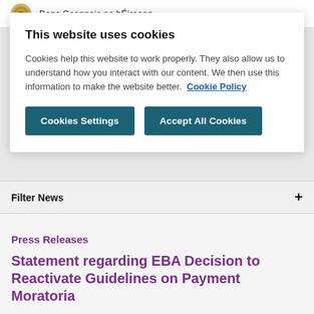Banc Ceannais na hÉireann
This website uses cookies
Cookies help this website to work properly. They also allow us to understand how you interact with our content. We then use this information to make the website better. Cookie Policy
Cookies Settings
Accept All Cookies
Filter News
Press Releases
Statement regarding EBA Decision to Reactivate Guidelines on Payment Moratoria